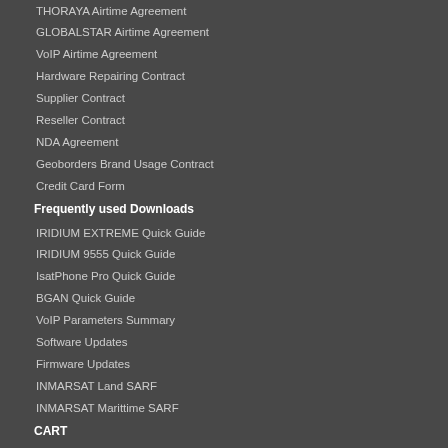THORAYA Airtime Agreement
GLOBALSTAR Airtime Agreement
VoIP Airtime Agreement
Hardware Repairing Contract
Supplier Contract
Reseller Contract
NDA Agreement
Geoborders Brand Usage Contract
Credit Card Form
Frequently used Downloads
IRIDIUM EXTREME Quick Guide
IRIDIUM 9555 Quick Guide
IsatPhone Pro Quick Guide
BGAN Quick Guide
VoIP Parameters Summary
Software Updates
Firmware Updates
INMARSAT Land SARF
INMARSAT Marittime SARF
CART
Product Finder
My CART
My Favourite Products